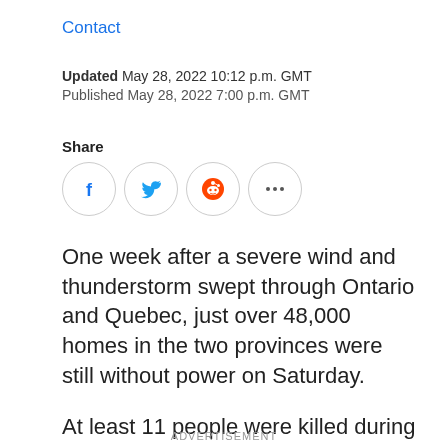Contact
Updated May 28, 2022 10:12 p.m. GMT
Published May 28, 2022 7:00 p.m. GMT
Share
[Figure (other): Social share icons: Facebook, Twitter, Reddit, More (ellipsis)]
One week after a severe wind and thunderstorm swept through Ontario and Quebec, just over 48,000 homes in the two provinces were still without power on Saturday.
At least 11 people were killed during last week's storm and its aftermath as it toppled trees, knocked out power lines and caused heavy property damage.
ADVERTISEMENT